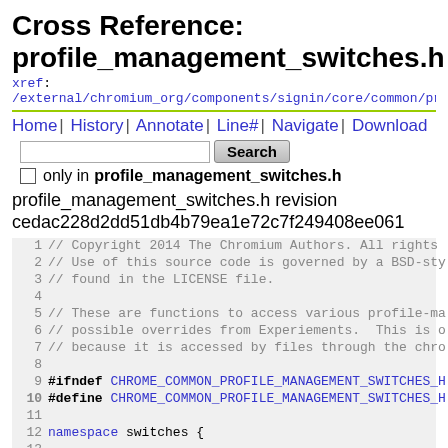Cross Reference: profile_management_switches.h
xref: /external/chromium_org/components/signin/core/common/pro...
Home | History | Annotate | Line# | Navigate | Download
only in profile_management_switches.h
profile_management_switches.h revision cedac228d2dd51db4b79ea1e72c7f249408ee061
1  // Copyright 2014 The Chromium Authors. All rights
2  // Use of this source code is governed by a BSD-sty
3  // found in the LICENSE file.
4
5  // These are functions to access various profile-ma
6  // possible overrides from Experiements.  This is o
7  // because it is accessed by files through the chro
8
9  #ifndef CHROME_COMMON_PROFILE_MANAGEMENT_SWITCHES_H
10 #define CHROME_COMMON_PROFILE_MANAGEMENT_SWITCHES_H
11
12 namespace switches {
13